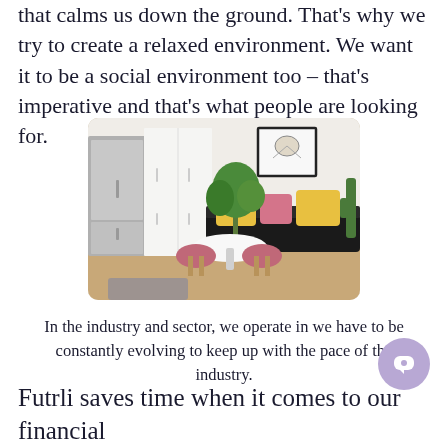that calms us down the ground. That's why we try to create a relaxed environment. We want it to be a social environment too – that's imperative and that's what people are looking for.
[Figure (photo): Interior photo of a modern co-living or co-working lounge space with pink chairs around a white round table, a black sofa with yellow and pink cushions, a large green plant, white wardrobe/cabinets, a stainless steel refrigerator, and framed artwork on the white wall.]
In the industry and sector, we operate in we have to be constantly evolving to keep up with the pace of the industry.
Futrli saves time when it comes to our financial